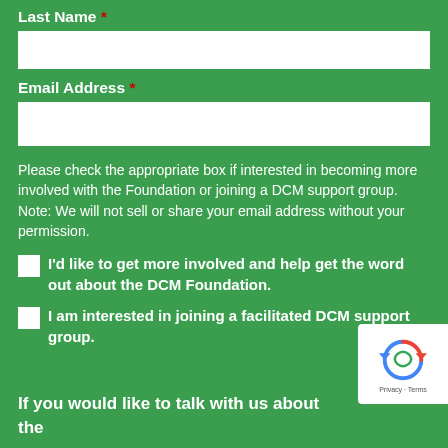Last Name *
Email Address *
Please check the appropriate box if interested in becoming more involved with the Foundation or joining a DCM support group. Note: We will not sell or share your email address without your permission.
I'd like to get more involved and help get the word out about the DCM Foundation.
I am interested in joining a facilitated DCM support group.
If you would like to talk with us about the